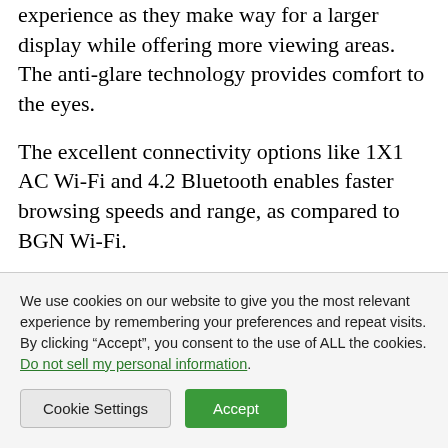experience as they make way for a larger display while offering more viewing areas. The anti-glare technology provides comfort to the eyes.
The excellent connectivity options like 1X1 AC Wi-Fi and 4.2 Bluetooth enables faster browsing speeds and range, as compared to BGN Wi-Fi.
(partial, obscured by cookie banner)
We use cookies on our website to give you the most relevant experience by remembering your preferences and repeat visits. By clicking "Accept", you consent to the use of ALL the cookies. Do not sell my personal information.